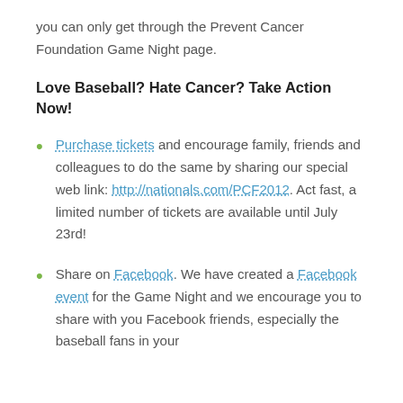you can only get through the Prevent Cancer Foundation Game Night page.
Love Baseball? Hate Cancer? Take Action Now!
Purchase tickets and encourage family, friends and colleagues to do the same by sharing our special web link: http://nationals.com/PCF2012. Act fast, a limited number of tickets are available until July 23rd!
Share on Facebook. We have created a Facebook event for the Game Night and we encourage you to share with you Facebook friends, especially the baseball fans in your